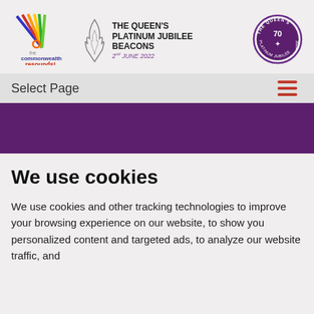[Figure (logo): Commonwealth Resounds logo with colorful rays and text]
[Figure (logo): The Queen's Platinum Jubilee Beacons logo with flame icon and text '2nd JUNE 2022']
[Figure (logo): The Queen's Platinum Jubilee 2022 circular seal in purple]
Select Page
We use cookies
We use cookies and other tracking technologies to improve your browsing experience on our website, to show you personalized content and targeted ads, to analyze our website traffic, and